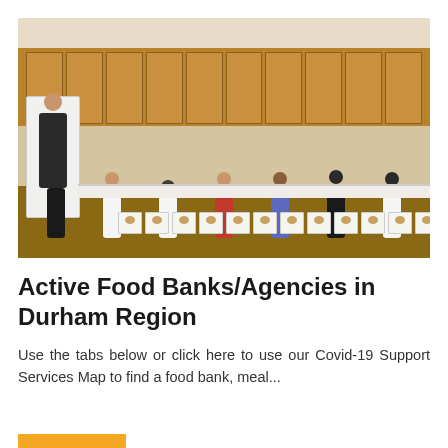[Figure (photo): Group of masked volunteers in a kitchen wearing aprons and masks, standing behind a long counter lined with rows of meal trays (sandwiches and sides in white containers). Wooden cabinets visible in background, white refrigerator on left.]
Active Food Banks/Agencies in Durham Region
Use the tabs below or click here to use our Covid-19 Support Services Map to find a food bank, meal...